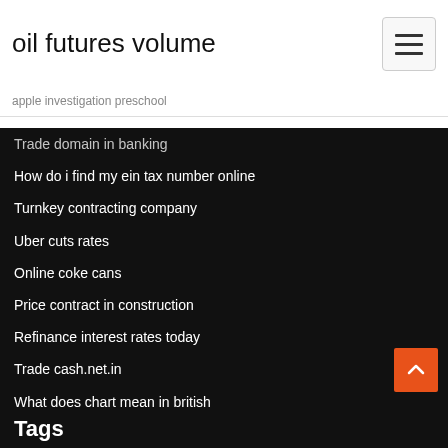oil futures volume
apple investigation preschool
Trade domain in banking
How do i find my ein tax number online
Turnkey contracting company
Uber cuts rates
Online coke cans
Price contract in construction
Refinance interest rates today
Trade cash.net.in
What does chart mean in british
Tags